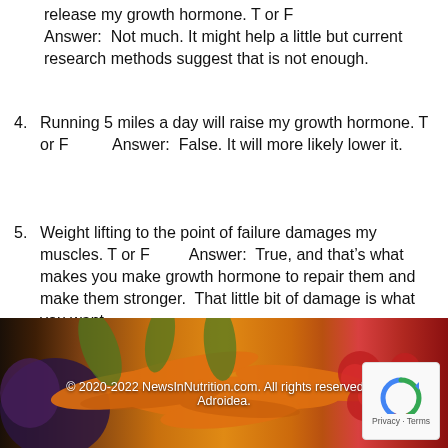release my growth hormone. T or F  Answer:  Not much. It might help a little but current research methods suggest that is not enough.
4. Running 5 miles a day will raise my growth hormone. T or F    Answer:  False. It will more likely lower it.
5. Weight lifting to the point of failure damages my muscles. T or F    Answer:  True, and that’s what makes you make growth hormone to repair them and make them stronger.  That little bit of damage is what you want.
[Figure (photo): Background photo of carrots, cherries, and eggplant vegetables/fruits]
© 2020-2022 NewsInNutrition.com. All rights reserved. Si Adroidea.